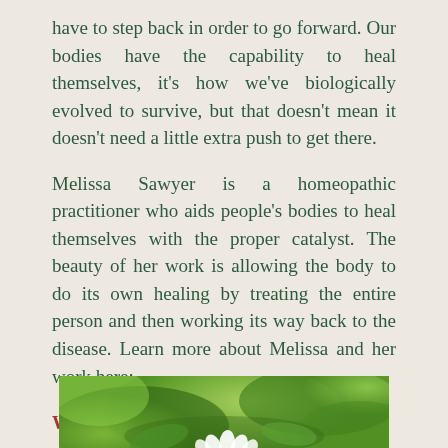have to step back in order to go forward. Our bodies have the capability to heal themselves, it's how we've biologically evolved to survive, but that doesn't mean it doesn't need a little extra push to get there.
Melissa Sawyer is a homeopathic practitioner who aids people's bodies to heal themselves with the proper catalyst. The beauty of her work is allowing the body to do its own healing by treating the entire person and then working its way back to the disease. Learn more about Melissa and her work here:
WEBSITE
INSTAGRAM
[Figure (photo): Close-up photo of green foliage with white flowers, blurred background, nature/botanical theme]